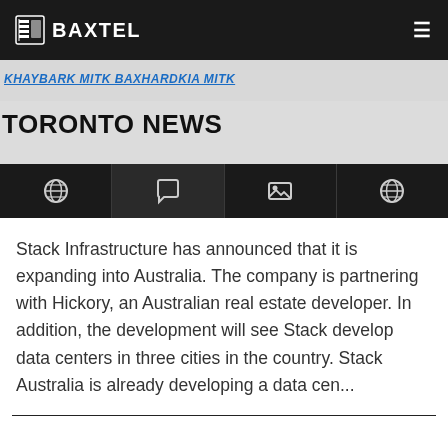Baxtel
KHAYBARK MITK BAXHARDKIA MITK
TORONTO NEWS
Stack Infrastructure has announced that it is expanding into Australia. The company is partnering with Hickory, an Australian real estate developer. In addition, the development will see Stack develop data centers in three cities in the country. Stack Australia is already developing a data cen...